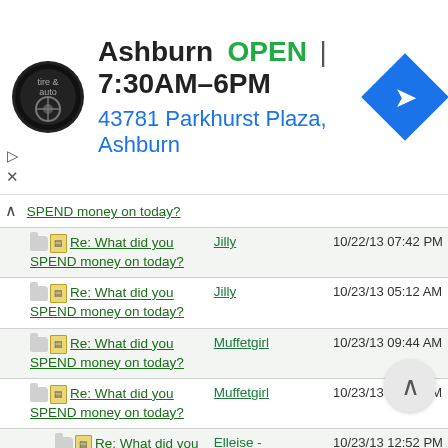[Figure (screenshot): Ad banner for Virginia Tire and Auto, Ashburn location. Shows logo, OPEN status, hours 7:30AM-6PM, address 43781 Parkhurst Plaza Ashburn, and navigation icon.]
| Thread | Author | Date |
| --- | --- | --- |
| Re: What did you SPEND money on today? |  |  |
| Re: What did you SPEND money on today? | Jilly | 10/22/13 07:42 PM |
| Re: What did you SPEND money on today? | Jilly | 10/23/13 05:12 AM |
| Re: What did you SPEND money on today? | Muffetgirl | 10/23/13 09:44 AM |
| Re: What did you SPEND money on today? | Muffetgirl | 10/23/13 09:54 AM |
| Re: What did you SPEND money on today? | Elleise - Clairvoyance | 10/23/13 12:52 PM |
| Re: What did you SPEND money on today? | Jilly | 10/23/13 11:12 PM |